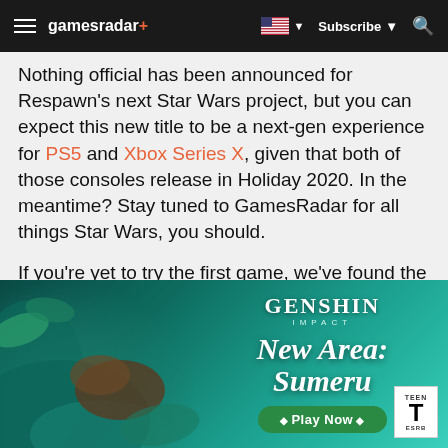gamesradar+ | Subscribe | Search
Nothing official has been announced for Respawn's next Star Wars project, but you can expect this new title to be a next-gen experience for PS5 and Xbox Series X, given that both of those consoles release in Holiday 2020. In the meantime? Stay tuned to GamesRadar for all things Star Wars, you should.
If you're yet to try the first game, we've found the latest prices over in our guide to the best Star Wars Jedi: Fallen Order prices.
[Figure (illustration): Genshin Impact advertisement banner showing a character in a lush teal/green fantasy landscape. Text: GENSHIN IMPACT, New Area: Sumeru, Play Now button. ESRB Teen rating badge shown bottom right.]